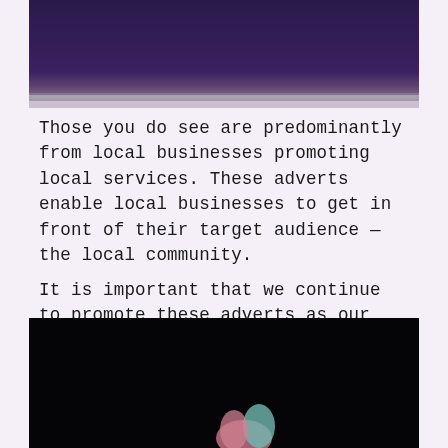[Figure (photo): Top portion of an image with dark purple background, partially visible, with a grey band at the bottom edge.]
Those you do see are predominantly from local businesses promoting local services. These adverts enable local businesses to get in front of their target audience — the local community.
It is important that we continue to promote these adverts as our local businesses need as much support as possible during these challenging times. He sped off but was arrested at his home 12 days later.
[Figure (photo): Bottom image with black background and a partially visible colourful figure (pink and teal tones) at the bottom centre.]